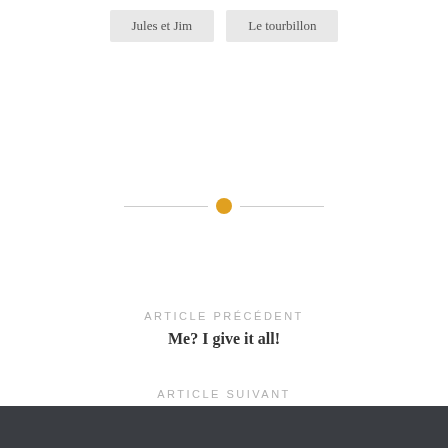Jules et Jim
Le tourbillon
[Figure (other): Horizontal divider with an orange circle in the center]
ARTICLE PRÉCÉDENT
Me? I give it all!
ARTICLE SUIVANT
Break: on holiday